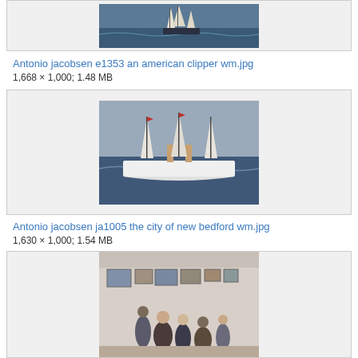[Figure (photo): Painting of an American clipper ship at sea (partial, top portion visible)]
Antonio jacobsen e1353 an american clipper wm.jpg
1,668 × 1,000; 1.48 MB
[Figure (photo): Painting of a steam/sail ship - The City of New Bedford at sea]
Antonio jacobsen ja1005 the city of new bedford wm.jpg
1,630 × 1,000; 1.54 MB
[Figure (photo): Art show or gallery interior with people viewing paintings on walls (partial, bottom portion visible)]